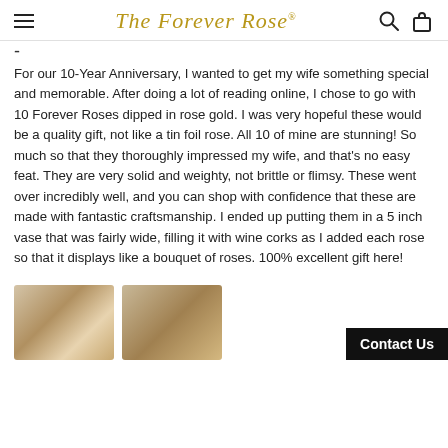The Forever Rose®
For our 10-Year Anniversary, I wanted to get my wife something special and memorable. After doing a lot of reading online, I chose to go with 10 Forever Roses dipped in rose gold. I was very hopeful these would be a quality gift, not like a tin foil rose. All 10 of mine are stunning! So much so that they thoroughly impressed my wife, and that's no easy feat. They are very solid and weighty, not brittle or flimsy. These went over incredibly well, and you can shop with confidence that these are made with fantastic craftsmanship. I ended up putting them in a 5 inch vase that was fairly wide, filling it with wine corks as I added each rose so that it displays like a bouquet of roses. 100% excellent gift here!
[Figure (photo): Two thumbnail photos of rose gold Forever Roses, one showing roses in a vase arrangement, another showing a single rose.]